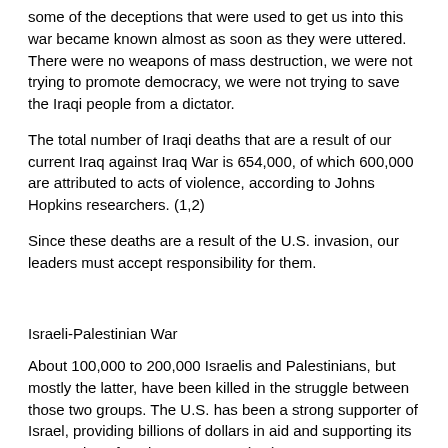some of the deceptions that were used to get us into this war became known almost as soon as they were uttered. There were no weapons of mass destruction, we were not trying to promote democracy, we were not trying to save the Iraqi people from a dictator.
The total number of Iraqi deaths that are a result of our current Iraq against Iraq War is 654,000, of which 600,000 are attributed to acts of violence, according to Johns Hopkins researchers. (1,2)
Since these deaths are a result of the U.S. invasion, our leaders must accept responsibility for them.
Israeli-Palestinian War
About 100,000 to 200,000 Israelis and Palestinians, but mostly the latter, have been killed in the struggle between those two groups. The U.S. has been a strong supporter of Israel, providing billions of dollars in aid and supporting its possession of nuclear weapons. (1,2)
Korea, North and South